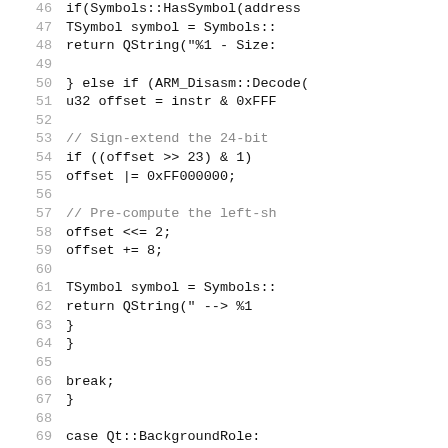Source code listing lines 46-75, C++ code with ARM disassembly and Qt background role handling